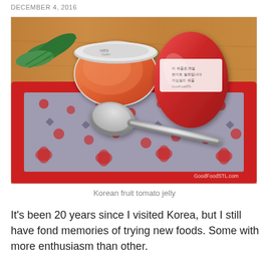DECEMBER 4, 2016
[Figure (photo): Photo of two small round containers of Korean fruit tomato jelly (one open showing red-orange jelly, one closed with label) on a red and blue floral cloth/bandana with a spoon, on a wooden table. Green leaves visible in background. Watermark: GoodFoodSTL.com]
Korean fruit tomato jelly
It's been 20 years since I visited Korea, but I still have fond memories of trying new foods. Some with more enthusiasm than other.